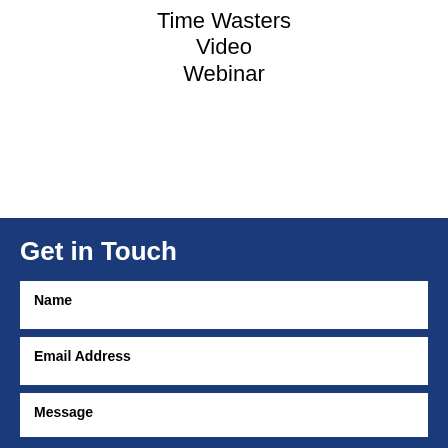Time Wasters
Video
Webinar
Get in Touch
Name
Email Address
Message